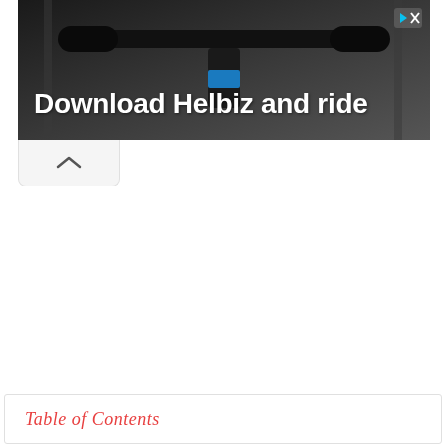[Figure (photo): Advertisement banner showing bicycle/scooter handlebars on a dark background with white bold text 'Download Helbiz and ride' and a close/dismiss icon in the top right corner]
Table of Contents